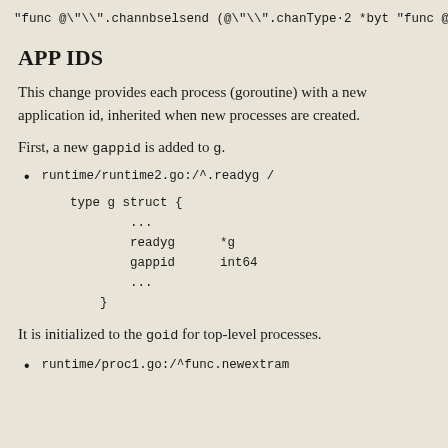"func @"\".channbselsend (@"\".chanType·2 *byt
"func @"\".chanselsend (@"\".chanType·2 *byte,
APP IDS
This change provides each process (goroutine) with a new application id, inherited when new processes are created.
First, a new gappid is added to g.
runtime/runtime2.go:/^.readyg /
type g struct {
    ...
    readyg      *g
    gappid      int64
    ...
}
It is initialized to the goid for top-level processes.
runtime/proc1.go:/^func.newextram